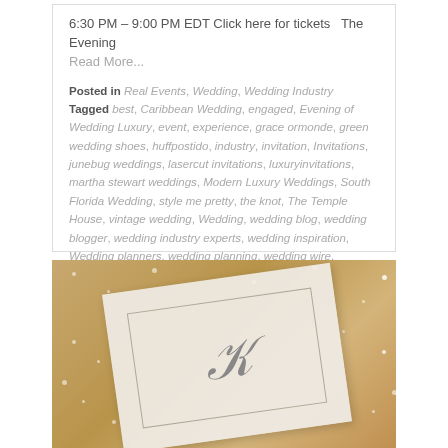6:30 PM – 9:00 PM EDT Click here for tickets  The Evening
Read More...
Posted in Real Events, Wedding, Wedding Industry
Tagged best, Caribbean Wedding, engaged, Evening of Wedding Luxury, event, experience, grace ormonde, green wedding shoes, huffpostido, industry, invitation, Invitations, junebug weddings, lasercut invitations, luxuryinvitations, martha stewart weddings, Modern Luxury Weddings, South Florida Wedding, style me pretty, the knot, The Temple House, vintage wedding, Wedding, wedding blog, wedding blogger, wedding industry experts, wedding inspiration, Wedding planners, wedding planning, wedding wire, weddinginspiration, weddinginvitation, weddinginvitations
Leave a comment
[Figure (photo): Close-up photo of a white/cream sparkly wedding invitation with a monogram letter K in a bordered box, set on a gold glitter background]